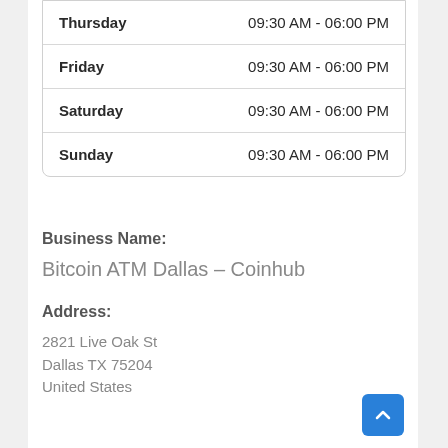| Day | Hours |
| --- | --- |
| Thursday | 09:30 AM - 06:00 PM |
| Friday | 09:30 AM - 06:00 PM |
| Saturday | 09:30 AM - 06:00 PM |
| Sunday | 09:30 AM - 06:00 PM |
Business Name:
Bitcoin ATM Dallas – Coinhub
Address:
2821 Live Oak St
Dallas TX 75204
United States